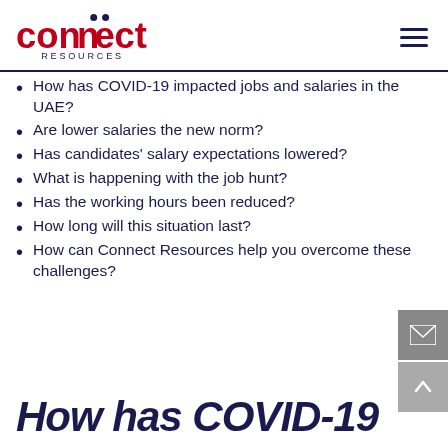Connect Resources
How has COVID-19 impacted jobs and salaries in the UAE?
Are lower salaries the new norm?
Has candidates' salary expectations lowered?
What is happening with the job hunt?
Has the working hours been reduced?
How long will this situation last?
How can Connect Resources help you overcome these challenges?
How has COVID-19